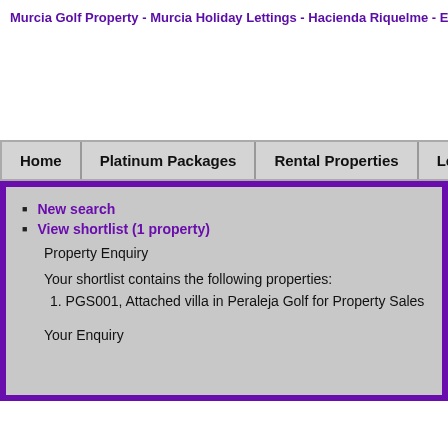Murcia Golf Property - Murcia Holiday Lettings - Hacienda Riquelme - El
[Figure (screenshot): White space / banner area]
| Home | Platinum Packages | Rental Properties | Local Inform... |
| --- | --- | --- | --- |
New search
View shortlist (1 property)
Property Enquiry
Your shortlist contains the following properties:
1. PGS001, Attached villa in Peraleja Golf for Property Sales
Your Enquiry